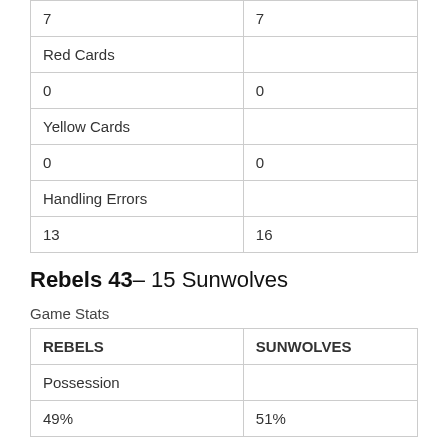| 7 | 7 |
| Red Cards |  |
| 0 | 0 |
| Yellow Cards |  |
| 0 | 0 |
| Handling Errors |  |
| 13 | 16 |
Rebels 43– 15 Sunwolves
Game Stats
| REBELS | SUNWOLVES |
| --- | --- |
| Possession |  |
| 49% | 51% |